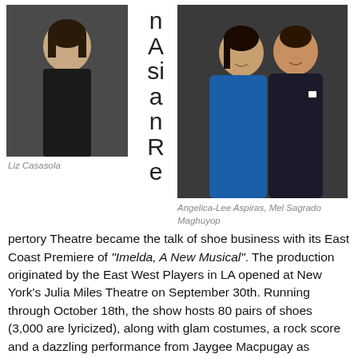[Figure (photo): Photo of Liz Casasola, a woman in a black dress smiling]
Liz Casasola
n A si a n R e pertory Theatre became the talk of shoe business with its East Coast Premiere of “Imelda, A New Musical”. The production originated by the East West Players in LA opened at New York’s Julia Miles Theatre on September 30th. Running through October 18th, the show hosts 80 pairs of shoes (3,000 are lyricized), along with glam costumes, a rock score and a dazzling performance from Jaygee Macpugay as Imelda.
[Figure (photo): Photo of Angelica-Lee Aspiras and Mel Sagrado Maghuyop, a couple posing together, the woman in a blue dress and the man in a dark suit]
Angelica-Lee Aspiras, Mel Sagrado Maghuyop
By: Isa Goldberg